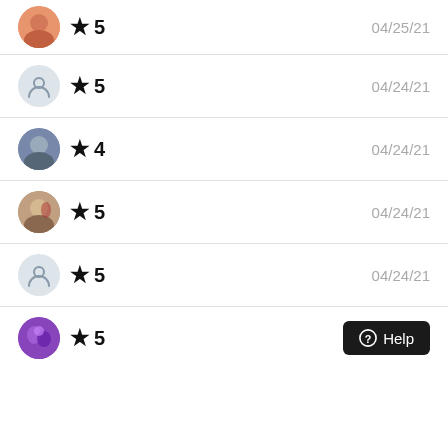★ 5  04/25/21
★ 5  04/24/21
★ 4  04/24/21
★ 5  04/24/21
★ 5  04/24/21
★ 5  Help